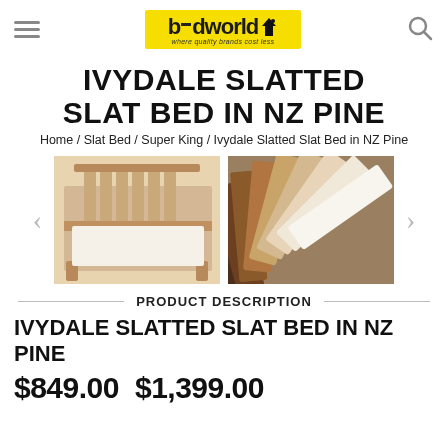bedworld – where quality brands cost less
IVYDALE SLATTED SLAT BED IN NZ PINE
Home / Slat Bed / Super King / Ivydale Slatted Slat Bed in NZ Pine
[Figure (photo): Two thumbnail images: left shows a light pine slatted bed frame, right shows a fan of fabric/colour swatches in various shades]
PRODUCT DESCRIPTION
IVYDALE SLATTED SLAT BED IN NZ PINE
$849.00   $1,399.00